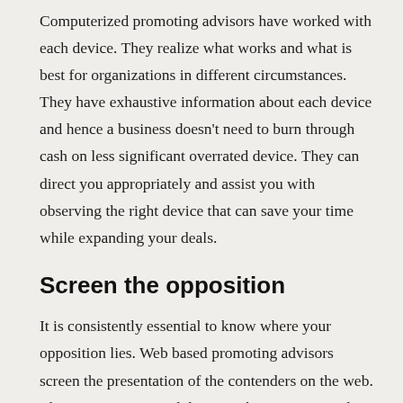Computerized promoting advisors have worked with each device. They realize what works and what is best for organizations in different circumstances. They have exhaustive information about each device and hence a business doesn't need to burn through cash on less significant overrated device. They can direct you appropriately and assist you with observing the right device that can save your time while expanding your deals.
Screen the opposition
It is consistently essential to know where your opposition lies. Web based promoting advisors screen the presentation of the contenders on the web. They examination and discover the computerized advertising techniques the contenders are executing and ensure that your organization is excessively in front of them.